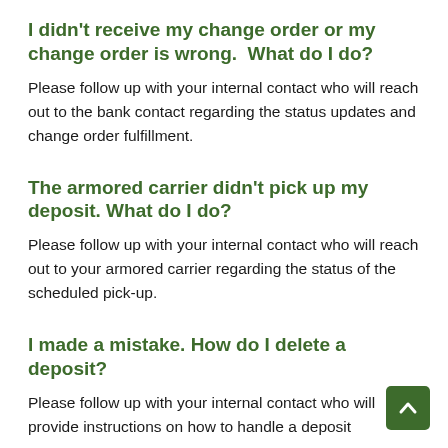I didn't receive my change order or my change order is wrong.  What do I do?
Please follow up with your internal contact who will reach out to the bank contact regarding the status updates and change order fulfillment.
The armored carrier didn't pick up my deposit. What do I do?
Please follow up with your internal contact who will reach out to your armored carrier regarding the status of the scheduled pick-up.
I made a mistake. How do I delete a deposit?
Please follow up with your internal contact who will provide instructions on how to handle a deposit